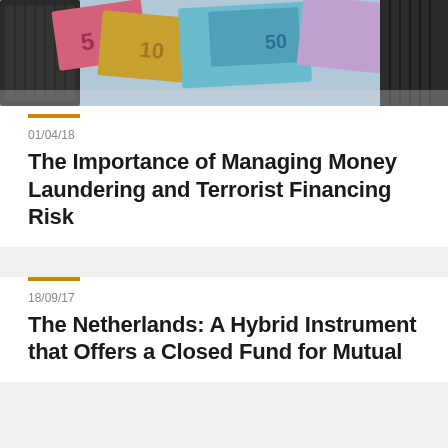[Figure (photo): Photo of Euro banknotes with various denominations scattered, with a dark colander/strainer visible, representing money laundering concept]
01/04/18
The Importance of Managing Money Laundering and Terrorist Financing Risk
18/09/17
The Netherlands: A Hybrid Instrument that Offers a Closed Fund for Mutual Investment